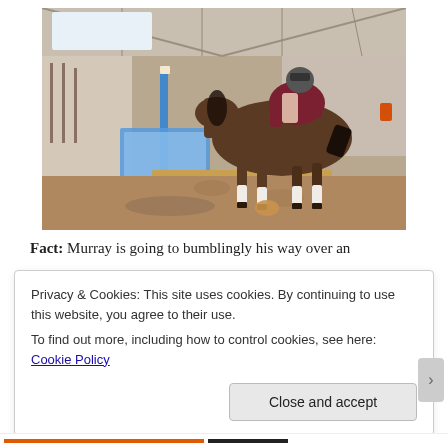[Figure (photo): A horse with a rider in a purple jacket and helmet jumping over a blue show jump obstacle inside an indoor arena with sand footing and metal roof structure.]
Fact: Murray is going to bumblingly his way over an
Privacy & Cookies: This site uses cookies. By continuing to use this website, you agree to their use.
To find out more, including how to control cookies, see here: Cookie Policy
Close and accept